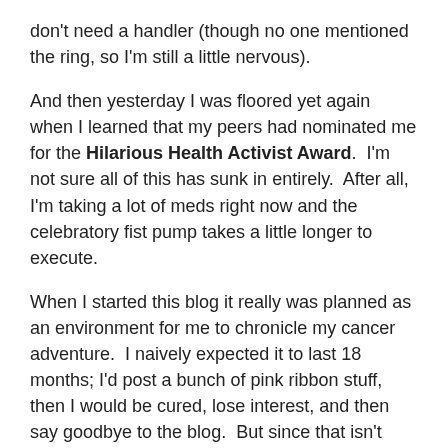don't need a handler (though no one mentioned the ring, so I'm still a little nervous).
And then yesterday I was floored yet again when I learned that my peers had nominated me for the Hilarious Health Activist Award.  I'm not sure all of this has sunk in entirely.  After all, I'm taking a lot of meds right now and the celebratory fist pump takes a little longer to execute.
When I started this blog it really was planned as an environment for me to chronicle my cancer adventure.  I naively expected it to last 18 months; I'd post a bunch of pink ribbon stuff, then I would be cured, lose interest, and then say goodbye to the blog.  But since that isn't happening, it's really evolved into a vehicle through which I don't solely document the experience, but explore the physical, emotional, social, economic, and ethics of this